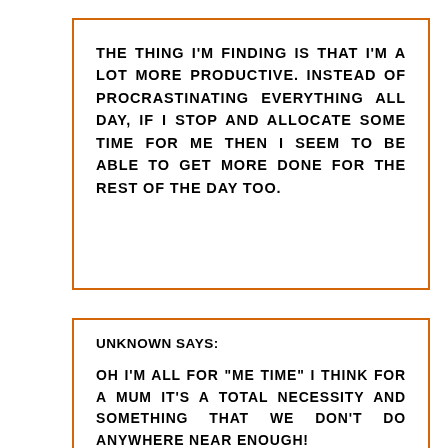THE THING I'M FINDING IS THAT I'M A LOT MORE PRODUCTIVE. INSTEAD OF PROCRASTINATING EVERYTHING ALL DAY, IF I STOP AND ALLOCATE SOME TIME FOR ME THEN I SEEM TO BE ABLE TO GET MORE DONE FOR THE REST OF THE DAY TOO.
UNKNOWN SAYS:

OH I'M ALL FOR "ME TIME" I THINK FOR A MUM IT'S A TOTAL NECESSITY AND SOMETHING THAT WE DON'T DO ANYWHERE NEAR ENOUGH!